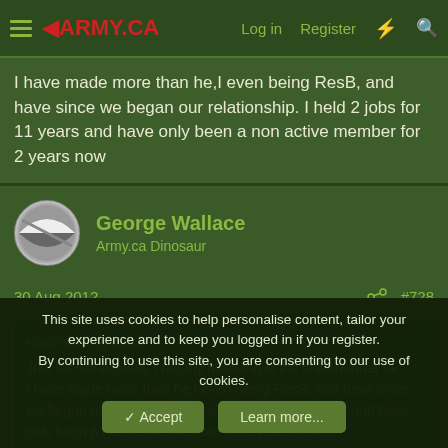ARMY.CA — Log in  Register
I have made more than he,I even being ResB, and have since we began our relationship. I held 2 jobs for 11 years and have only been a non active member for 2 years now
George Wallace
Army.ca Dinosaur
30 Aug 2012  #728
KatFleming said:
Just for clarification, I not my husband is the breadwinner lol
I have made more than he,I even being ResB, and have since we began our relationship. I held 2 jobs for 11 years and have only been a non active member for 2 years now
This site uses cookies to help personalise content, tailor your experience and to keep you logged in if you register.
By continuing to use this site, you are consenting to our use of cookies.
Accept  Learn more...